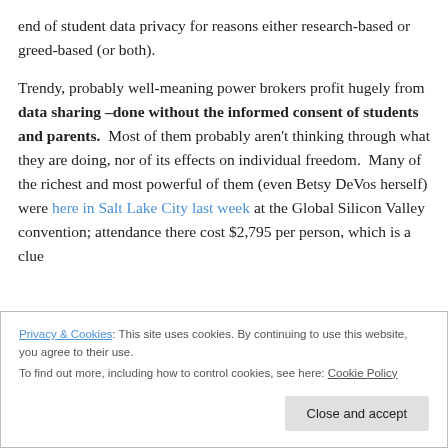end of student data privacy for reasons either research-based or greed-based (or both).
Trendy, probably well-meaning power brokers profit hugely from data sharing –done without the informed consent of students and parents. Most of them probably aren't thinking through what they are doing, nor of its effects on individual freedom. Many of the richest and most powerful of them (even Betsy DeVos herself) were here in Salt Lake City last week at the Global Silicon Valley convention; attendance there cost $2,795 per person, which is a clue
Privacy & Cookies: This site uses cookies. By continuing to use this website, you agree to their use.
To find out more, including how to control cookies, see here: Cookie Policy